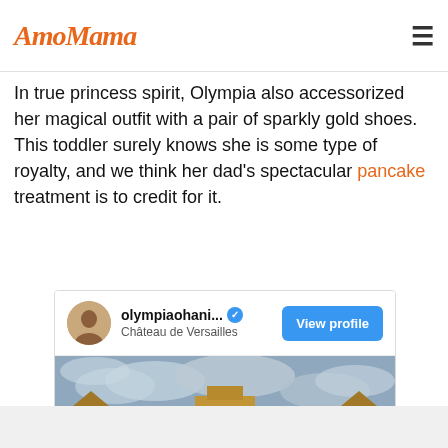AmoMama
In true princess spirit, Olympia also accessorized her magical outfit with a pair of sparkly gold shoes. This toddler surely knows she is some type of royalty, and we think her dad's spectacular pancake treatment is to credit for it.
[Figure (screenshot): Instagram embed card showing user olympiaohani... with verified badge and location Château de Versailles, with a View profile button, and a photo of a child in front of the Palace of Versailles under a cloudy sky.]